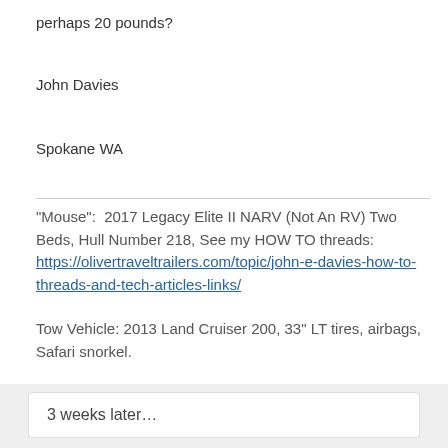perhaps 20 pounds?
John Davies
Spokane WA
"Mouse":  2017 Legacy Elite II NARV (Not An RV) Two Beds, Hull Number 218, See my HOW TO threads: https://olivertraveltrailers.com/topic/john-e-davies-how-to-threads-and-tech-articles-links/
Tow Vehicle: 2013 Land Cruiser 200, 33" LT tires, airbags, Safari snorkel.
3 weeks later…